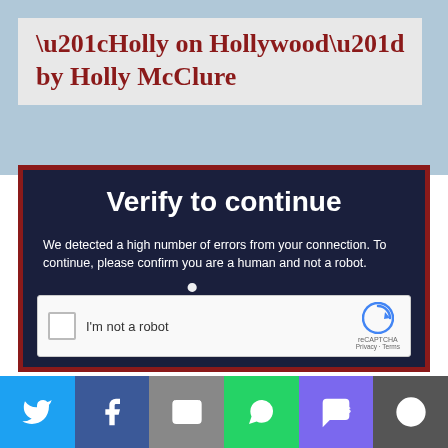“Holly on Hollywood” by Holly McClure
[Figure (screenshot): Vimeo 'Verify to continue' page screenshot showing a reCAPTCHA challenge. Title reads 'Verify to continue'. Body text: 'We detected a high number of errors from your connection. To continue, please confirm you are a human and not a robot.' Overlaid with large italic Vimeo watermark logo. Below is a reCAPTCHA checkbox widget with 'I'm not a robot' label and reCAPTCHA branding showing Privacy and Terms links.]
[Figure (infographic): Social sharing bar at bottom with icons for Twitter, Facebook, Email, WhatsApp, SMS, and More sharing options.]